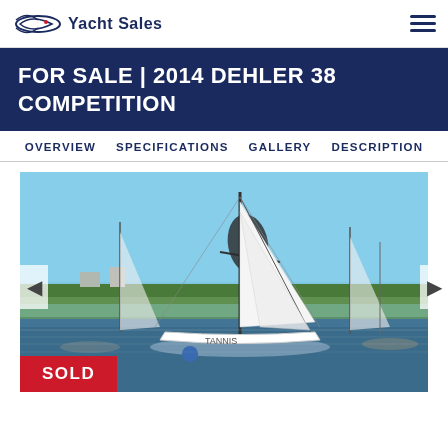Yacht Sales
FOR SALE | 2014 DEHLER 38 COMPETITION
OVERVIEW  SPECIFICATIONS  GALLERY  DESCRIPTION
[Figure (photo): Sailboat at marina with blue sky and multiple vessels in background, with SOLD badge overlay]
SOLD